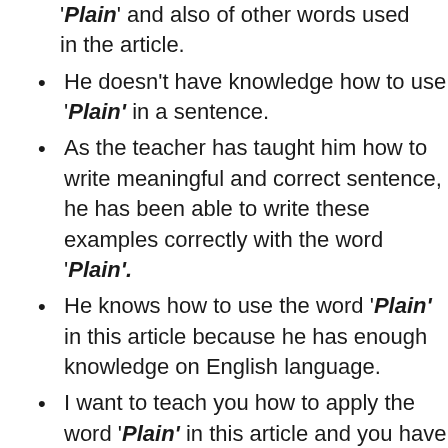'Plain' and also of other words used in the article.
He doesn't have knowledge how to use 'Plain' in a sentence.
As the teacher has taught him how to write meaningful and correct sentence, he has been able to write these examples correctly with the word 'Plain'.
He knows how to use the word 'Plain' in this article because he has enough knowledge on English language.
I want to teach you how to apply the word 'Plain' in this article and you have to practice the usage of other words as well.
Do you know how to use 'Plain' in